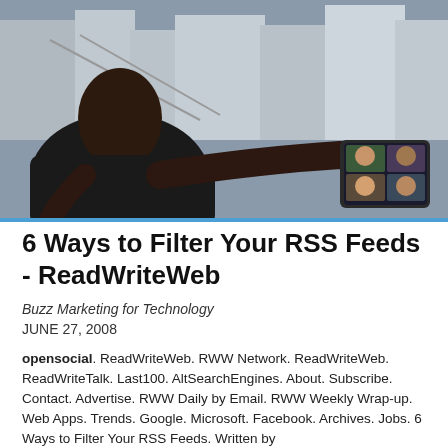[Figure (photo): A person viewed from behind holding a tablet showing a video call with multiple participants. Urban background with bridge and buildings.]
6 Ways to Filter Your RSS Feeds - ReadWriteWeb
Buzz Marketing for Technology
JUNE 27, 2008
opensocial. ReadWriteWeb. RWW Network. ReadWriteWeb. ReadWriteTalk. Last100. AltSearchEngines. About. Subscribe. Contact. Advertise. RWW Daily by Email. RWW Weekly Wrap-up. Web Apps. Trends. Google. Microsoft. Facebook. Archives. Jobs. 6 Ways to Filter Your RSS Feeds. Written by